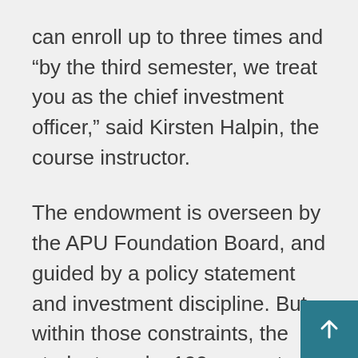can enroll up to three times and “by the third semester, we treat you as the chief investment officer,” said Kirsten Halpin, the course instructor.
The endowment is overseen by the APU Foundation Board, and guided by a policy statement and investment discipline. But within those constraints, the students make 100 percent of the decisions.
There are no finals and no homework for the Fund Management Practicum. Instead, students research companies and metrics and meet each week to make portfolio